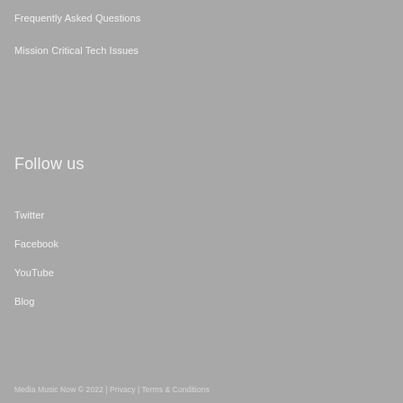Frequently Asked Questions
Mission Critical Tech Issues
Follow us
Twitter
Facebook
YouTube
Blog
Media Music Now © 2022 | Privacy | Terms & Conditions